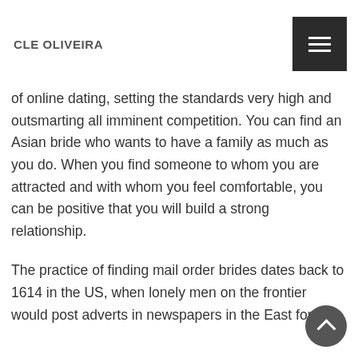CLE OLIVEIRA
of online dating, setting the standards very high and outsmarting all imminent competition. You can find an Asian bride who wants to have a family as much as you do. When you find someone to whom you are attracted and with whom you feel comfortable, you can be positive that you will build a strong relationship.
The practice of finding mail order brides dates back to 1614 in the US, when lonely men on the frontier would post adverts in newspapers in the East for